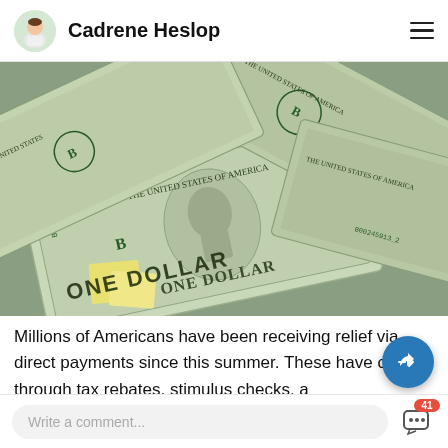Cadrene Heslop
[Figure (photo): Overhead photo of multiple US one-dollar bills spread out and overlapping, showing serial numbers, portraits of George Washington, and 'THE UNITED STATES OF AMERICA' text.]
Millions of Americans have been receiving relief via direct payments since this summer. These have come through tax rebates, stimulus checks, a
Write a comment...  [chat icon with badge 41]